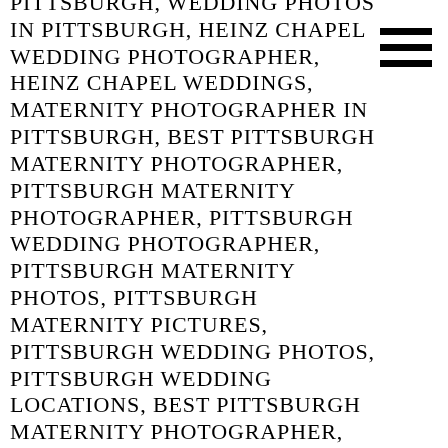PITTSBURGH, WEDDING PHOTOS IN PITTSBURGH, HEINZ CHAPEL WEDDING PHOTOGRAPHER, HEINZ CHAPEL WEDDINGS, MATERNITY PHOTOGRAPHER IN PITTSBURGH, BEST PITTSBURGH MATERNITY PHOTOGRAPHER, PITTSBURGH MATERNITY PHOTOGRAPHER, PITTSBURGH WEDDING PHOTOGRAPHER, PITTSBURGH MATERNITY PHOTOS, PITTSBURGH MATERNITY PICTURES, PITTSBURGH WEDDING PHOTOS, PITTSBURGH WEDDING LOCATIONS, BEST PITTSBURGH MATERNITY PHOTOGRAPHER, BEST PITTSBURGH WEDDING PHOTOGRAPHER, MATERNITY PHOTOGRAPHER, MATERNITY PICTURES IN PITTSBURGH, WEDDING PICTURES IN PITTSBURGH, BEST PITTSBURGH WEDDING PHOTOGRAPHER, PITTSBURGH PHOTOGRAPHER, PITTSBURGH WEDDING PHOTOS, PITTSBURGH MATERNITY PHOTOGRAPHER, BEST PITTSBURGH MATERNITY PHOTOGRAPHER, PITTSBURGH MATERNITY PHOTOS, MATERNITY PICTURES IN PITTSBURGH, BEAVER COUNTY MATERNITY PHOTOGRAPHER, BADEN MATERNITY PHOTOGRAPHER, BADEN WEDDING PHOTOGRAPHER
[Figure (other): Hamburger menu icon — three horizontal black bars]